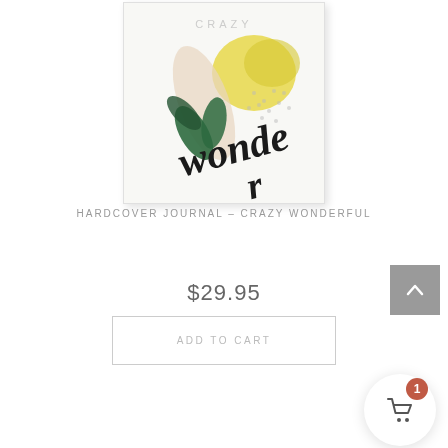[Figure (photo): Product image of a hardcover journal with white cover featuring colorful illustration of lemon, leaves, and 'Crazy Wonderful' script text]
HARDCOVER JOURNAL – CRAZY WONDERFUL
$29.95
ADD TO CART